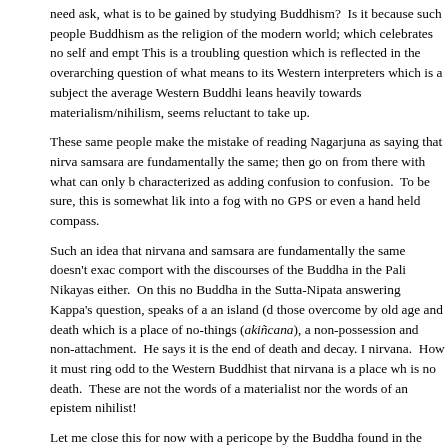need ask, what is to be gained by studying Buddhism?  Is it because such people see Buddhism as the religion of the modern world; which celebrates no self and empt... This is a troubling question which is reflected in the overarching question of what... means to its Western interpreters which is a subject the average Western Buddhi... leans heavily towards materialism/nihilism, seems reluctant to take up.
These same people make the mistake of reading Nagarjuna as saying that nirva... samsara are fundamentally the same; then go on from there with what can only b... characterized as adding confusion to confusion.  To be sure, this is somewhat lik... into a fog with no GPS or even a hand held compass.
Such an idea that nirvana and samsara are fundamentally the same doesn't exac... comport with the discourses of the Buddha in the Pali Nikayas either.  On this no... Buddha in the Sutta-Nipata answering Kappa's question, speaks of a an island (d... those overcome by old age and death which is a place of no-things (akiñcana), a... non-possession and non-attachment.  He says it is the end of death and decay. I... nirvana.  How it must ring odd to the Western Buddhist that nirvana is a place wh... is no death.  These are not the words of a materialist nor the words of an epistem... nihilist!
Let me close this for now with a pericope by the Buddha found in the Udana.  Ha... infinite to see; truth is no easy thing to see (VIII ii).
Posted at 09:37 AM in Buddhism, Current Affairs, martial arts, Meditation, philosophy, Religio... yoga, Zen